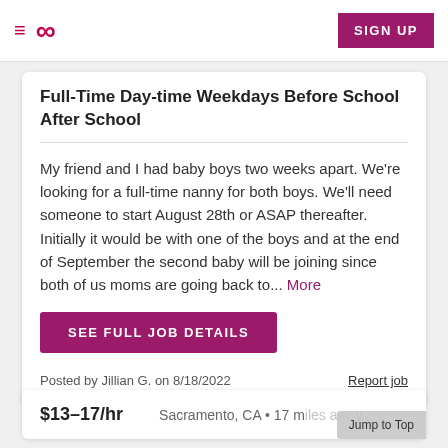≡ ∞  SIGN UP
Full-Time Day-time Weekdays Before School After School
My friend and I had baby boys two weeks apart. We're looking for a full-time nanny for both boys. We'll need someone to start August 28th or ASAP thereafter. Initially it would be with one of the boys and at the end of September the second baby will be joining since both of us moms are going back to... More
SEE FULL JOB DETAILS
Posted by Jillian G. on 8/18/2022
Report job
$13–17/hr
Sacramento, CA • 17 miles away